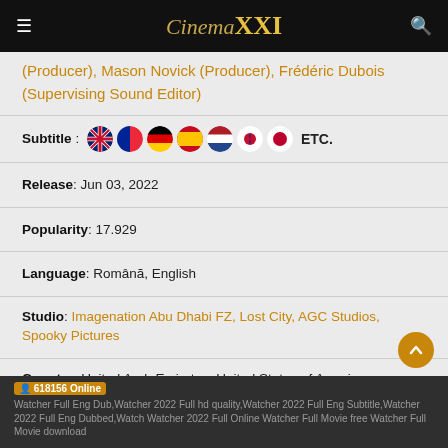Cinema XXI
(Producer), Mason Novick (Producer), Frédéric Dubois (Supervising Sound Editor)
Subtitle: [flags: UK, France, Germany, Spain, Netherlands, South Korea, Japan] ETC.
Release: Jun 03, 2022
Popularity: 17.929
Language: Română, English
Studio: Imagenation Abu Dhabi FZ, Lost City, AGC Studios, Spooky Pictures
Country: United Arab Emirates, United States of America, Romania
Watcher Full Eng Dub,Watcher 2022 Full hd quality,Watcher 2022 Full Eng Subtitle,Watcher 2022 Full Eng Dubbed,Watch Watcher 2022 Full Online Watcher Full Movie free Watcher Full Movie download  618156 Online